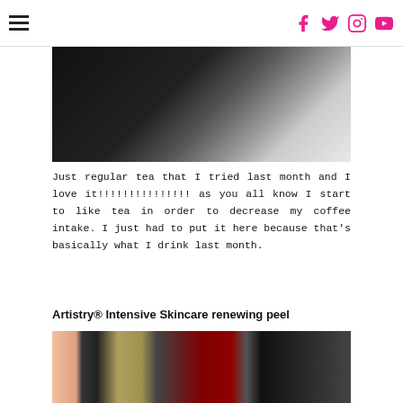Navigation menu and social icons (Facebook, Twitter, Instagram, YouTube)
[Figure (photo): Close-up photo of a dark object, likely a tea cup or container, partially visible against a light background]
Just regular tea that I tried last month and I love it!!!!!!!!!!!!!!! as you all know I start to like tea in order to decrease my coffee intake. I just had to put it here because that's basically what I drink last month.
Artistry® Intensive Skincare renewing peel
[Figure (photo): Photo of skincare product tube on a laptop keyboard, with fingers visible holding the product]